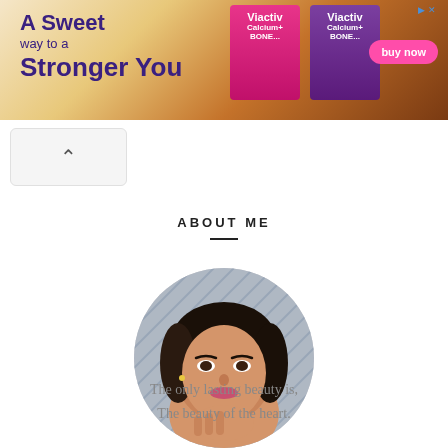[Figure (photo): Advertisement banner for Viactiv Calcium+ Bone supplements. Purple text reads 'A Sweet way to a Stronger You' on a caramel/chocolate background. Two product boxes shown with 'buy now' pink button.]
[Figure (other): Collapse/hide button with upward-pointing caret arrow on light gray background]
ABOUT ME
[Figure (photo): Circular profile photo of a young woman with short dark hair, wearing makeup and a stud earring, resting her chin on her hand. Background has a geometric diamond pattern.]
The only lasting beauty is,
The beauty of the heart.